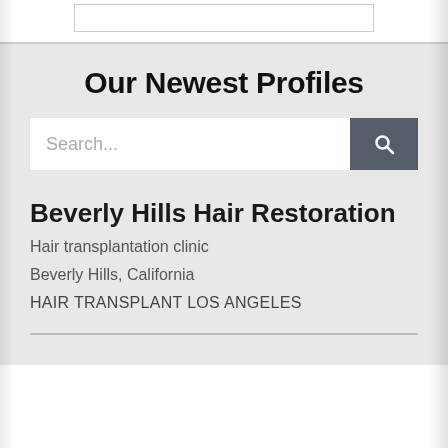Our Newest Profiles
[Figure (screenshot): Search bar with text placeholder 'Search...' and a dark grey search button with magnifying glass icon]
Beverly Hills Hair Restoration
Hair transplantation clinic
Beverly Hills, California
HAIR TRANSPLANT LOS ANGELES